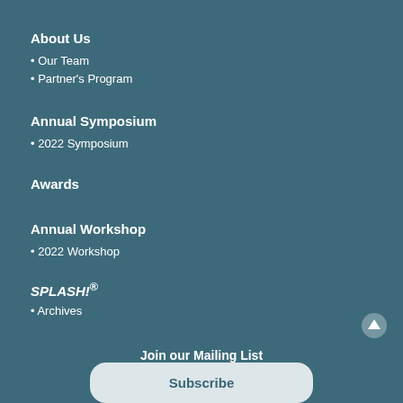About Us
• Our Team
• Partner's Program
Annual Symposium
• 2022 Symposium
Awards
Annual Workshop
• 2022 Workshop
SPLASH!®
• Archives
Join our Mailing List
Subscribe